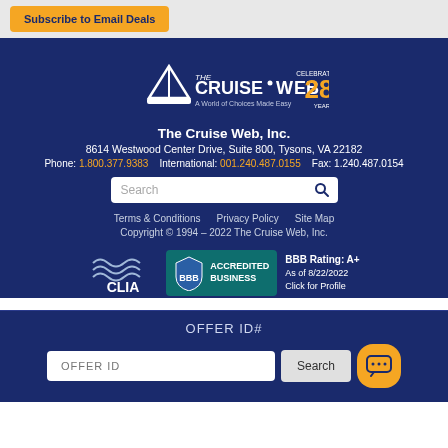[Figure (other): Orange Subscribe to Email Deals button on light grey background]
[Figure (logo): The Cruise Web logo with ship icon and Celebrating 28 Years badge on dark blue background]
The Cruise Web, Inc.
8614 Westwood Center Drive, Suite 800, Tysons, VA 22182
Phone: 1.800.377.9383   International: 001.240.487.0155   Fax: 1.240.487.0154
[Figure (other): Search input box with magnifying glass icon]
Terms & Conditions   Privacy Policy   Site Map
Copyright © 1994 – 2022 The Cruise Web, Inc.
[Figure (logo): CLIA logo and BBB Accredited Business badge with BBB Rating: A+ As of 8/22/2022 Click for Profile]
OFFER ID#
[Figure (other): Offer ID input field with Search button and orange chat button]